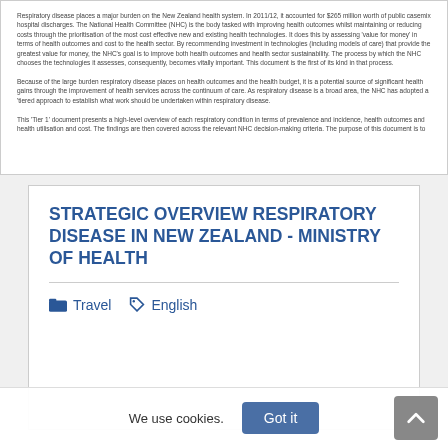Respiratory disease places a major burden on the New Zealand health system. In 2011/12, it accounted for $265 million worth of public casemix hospital discharges. The National Health Committee (NHC) is the body tasked with improving health outcomes whilst maintaining or reducing costs through the prioritisation of the most cost effective new and existing health technologies. It does this by assessing 'value for money' in terms of health outcomes and cost to the health sector. By recommending investment in technologies (including models of care) that provide the greatest value for money, the NHC's goal is to improve both health outcomes and health sector sustainability. The process by which the NHC chooses the technologies it assesses, consequently, becomes vitally important. This document is the first of its kind in that process.

Because of the large burden respiratory disease places on health outcomes and the health budget, it is a potential source of significant health gains through the improvement of health services across the continuum of care. As respiratory disease is a broad area, the NHC has adopted a 'tiered approach to establish what work should be undertaken within respiratory disease.

This 'Tier 1' document presents a high-level overview of each respiratory condition in terms of prevalence and incidence, health outcomes and health utilisation and cost. The findings are then...
STRATEGIC OVERVIEW RESPIRATORY DISEASE IN NEW ZEALAND - MINISTRY OF HEALTH
Travel   English